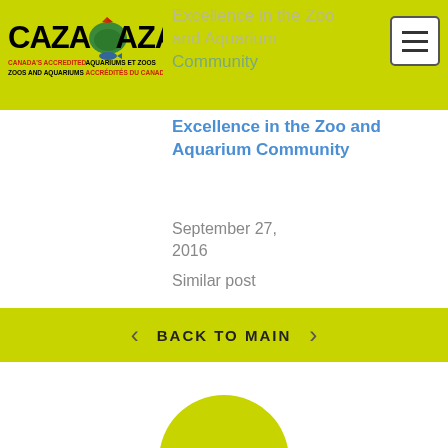CAZA CAZAC - Canada's Accredited Zoos and Aquariums
Excellence in the Zoo and Aquarium Community
September 27, 2016
Similar post
BACK TO MAIN